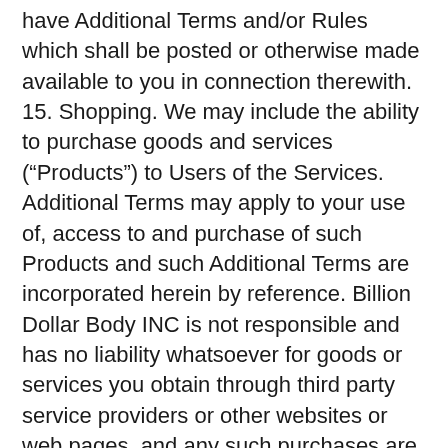have Additional Terms and/or Rules which shall be posted or otherwise made available to you in connection therewith. 15. Shopping. We may include the ability to purchase goods and services (“Products”) to Users of the Services. Additional Terms may apply to your use of, access to and purchase of such Products and such Additional Terms are incorporated herein by reference. Billion Dollar Body INC is not responsible and has no liability whatsoever for goods or services you obtain through third party service providers or other websites or web pages, and any such purchases are subject to their respective terms and conditions of use. We encourage you to make whatever investigation you feel necessary or appropriate before proceeding with any online